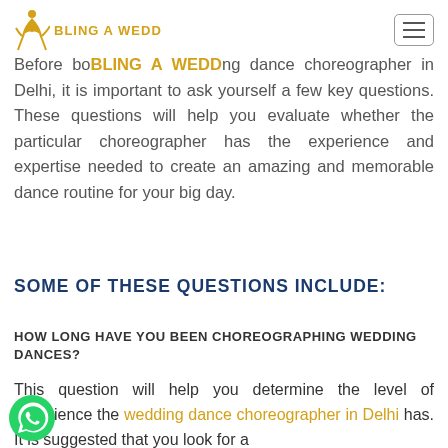BLING A WEDD (logo/brand text)
Before booking a wedding dance choreographer in Delhi, it is important to ask yourself a few key questions. These questions will help you evaluate whether the particular choreographer has the experience and expertise needed to create an amazing and memorable dance routine for your big day.
SOME OF THESE QUESTIONS INCLUDE:
HOW LONG HAVE YOU BEEN CHOREOGRAPHING WEDDING DANCES?
This question will help you determine the level of experience the wedding dance choreographer in Delhi has. It is suggested that you look for a